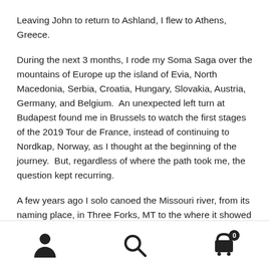Leaving John to return to Ashland, I flew to Athens, Greece.
During the next 3 months, I rode my Soma Saga over the mountains of Europe up the island of Evia, North Macedonia, Serbia, Croatia, Hungary, Slovakia, Austria, Germany, and Belgium.  An unexpected left turn at Budapest found me in Brussels to watch the first stages of the 2019 Tour de France, instead of continuing to Nordkap, Norway, as I thought at the beginning of the journey.  But, regardless of where the path took me, the question kept recurring.
A few years ago I solo canoed the Missouri river, from its naming place, in Three Forks, MT to the where it showed